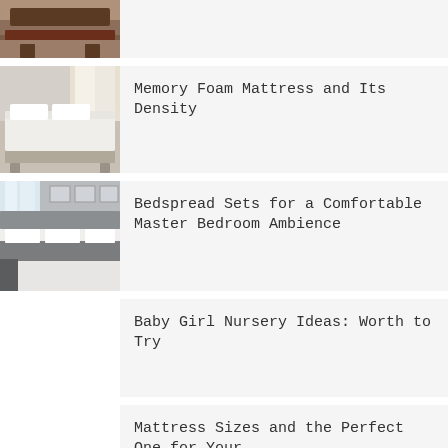[Figure (photo): Dark wooden bed frame with brown bedding in a bedroom]
[Figure (photo): White memory foam mattress on a light-colored bed frame]
Memory Foam Mattress and Its Density
[Figure (photo): Bed with white and grey bedspread in a master bedroom]
Bedspread Sets for a Comfortable Master Bedroom Ambience
Baby Girl Nursery Ideas: Worth to Try
Mattress Sizes and the Perfect One for Your